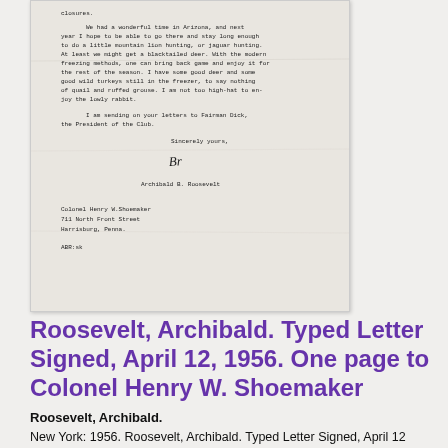[Figure (photo): Scanned typed letter signed by Archibald B. Roosevelt, April 12, 1956, addressed to Colonel Henry W. Shoemaker. The letter discusses a wonderful time in Arizona, mountain lion hunting, jaguar hunting, deer, freezing methods, game, wild turkeys, quail, ruffed grouse, and rabbits. Signed 'Sincerely yours, Archibald B. Roosevelt'. Address block at bottom: Colonel Henry W. Shoemaker, 711 North Front Street, Harrisburg, Penna. Initials ABR:sk.]
Roosevelt, Archibald. Typed Letter Signed, April 12, 1956. One page to Colonel Henry W. Shoemaker
Roosevelt, Archibald.
New York: 1956. Roosevelt, Archibald. Typed Letter Signed, April 12